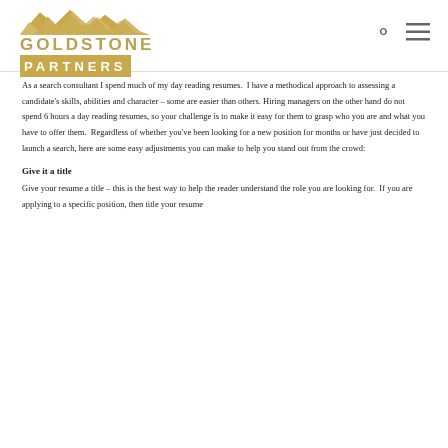Goldstone Partners
As a search consultant I spend much of my day reading resumes.  I have a methodical approach to assessing a candidate's skills, abilities and character – some are easier than others. Hiring managers on the other hand do not spend 6 hours a day reading resumes, so your challenge is to make it easy for them to grasp who you are and what you have to offer them.  Regardless of whether you've been looking for a new position for months or have just decided to launch a search, here are some easy adjustments you can make to help you stand out from the crowd:
Give it a title
Give your resume a title – this is the best way to help the reader understand the role you are looking for.  If you are applying to a specific position, then title your resume